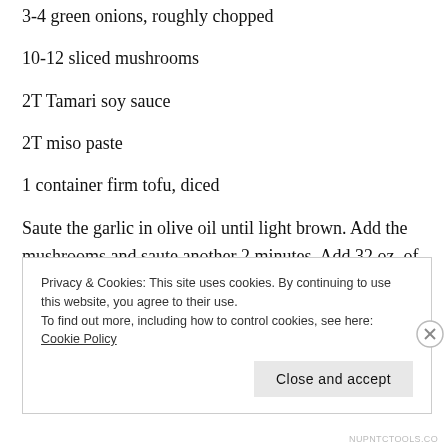3-4 green onions, roughly chopped
10-12 sliced mushrooms
2T Tamari soy sauce
2T miso paste
1 container firm tofu, diced
Saute the garlic in olive oil until light brown. Add the mushrooms and saute another 2 minutes. Add 32 oz. of water and tofu and simmer for 10
Privacy & Cookies: This site uses cookies. By continuing to use this website, you agree to their use.
To find out more, including how to control cookies, see here: Cookie Policy
NUPNTCTOOLS.CO